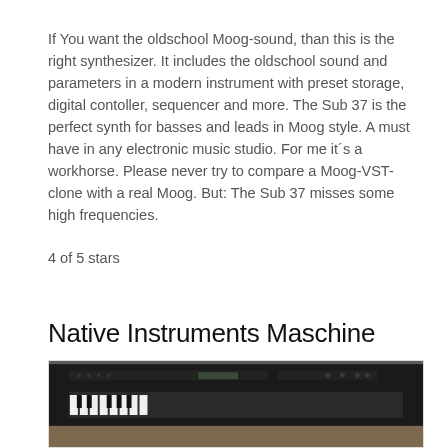If You want the oldschool Moog-sound, than this is the right synthesizer. It includes the oldschool sound and parameters in a modern instrument with preset storage, digital contoller, sequencer and more. The Sub 37 is the perfect synth for basses and leads in Moog style. A must have in any electronic music studio. For me it´s a workhorse. Please never try to compare a Moog-VST-clone with a real Moog. But: The Sub 37 misses some high frequencies.
4 of 5 stars
Native Instruments Maschine
[Figure (photo): Photo of a Native Instruments Maschine keyboard/synthesizer on a wooden surface, viewed from above at an angle, dark hardware with many buttons and controls]